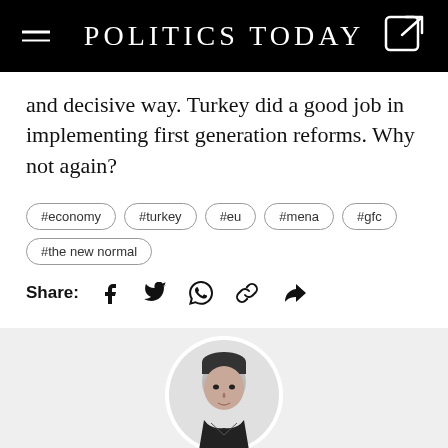POLITICS TODAY
and decisive way. Turkey did a good job in implementing first generation reforms. Why not again?
#economy #turkey #eu #mena #gfc #the new normal
Share:
[Figure (photo): Circular headshot portrait of a man in black and white, set against a light grey background]